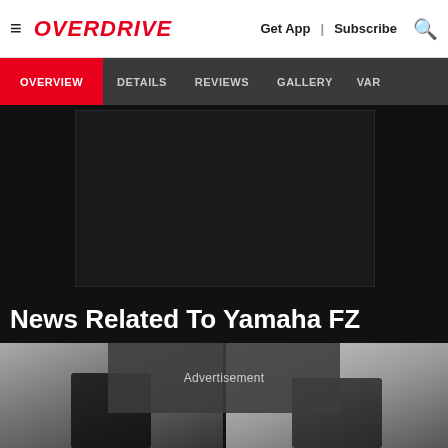OVERDRIVE | Get App | Subscribe
OVERVIEW | DETAILS | REVIEWS | GALLERY | VAR
[Figure (photo): Dark placeholder area showing a video or image player on the Yamaha FZ page]
News Related To Yamaha FZ
[Figure (photo): Two motorcycle news card images side by side - left shows a dark sports bike rider, right shows a dark Yamaha scooter. An Advertisement overlay appears in the center.]